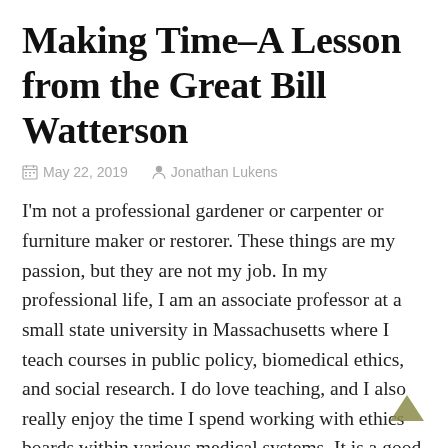Making Time–A Lesson from the Great Bill Watterson
May 22, 2019   Jonathan Lukens
I'm not a professional gardener or carpenter or furniture maker or restorer.  These things are my passion, but they are not my job.  In my professional life, I am an associate professor at a small state university in Massachusetts where I teach courses in public policy, biomedical ethics, and social research.  I do love teaching, and I also really enjoy the time I spend working with ethics boards within various medical systems.   It is a good job that I mostly enjoy and that affords me a decent